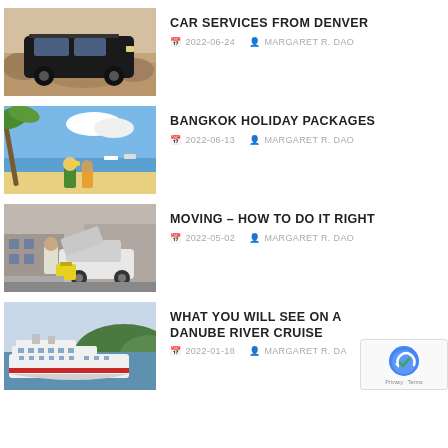[Figure (photo): Black SUV car parked on rocky terrain]
CAR SERVICES FROM DENVER
2022-06-24   MARGARET R. DAO
[Figure (photo): Tropical beach scene with two children under palm trees]
BANGKOK HOLIDAY PACKAGES
2022-06-13   MARGARET R. DAO
[Figure (photo): Person loading luggage into car trunk while moving]
MOVING – HOW TO DO IT RIGHT
2022-05-02   MARGARET R. DAO
[Figure (photo): White river cruise ship on river with green hills]
WHAT YOU WILL SEE ON A DANUBE RIVER CRUISE
2022-01-18   MARGARET R. DAO